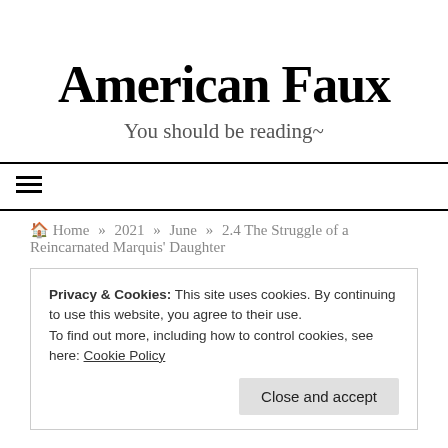American Faux
You should be reading~
≡
Home » 2021 » June » 2.4 The Struggle of a Reincarnated Marquis' Daughter
Privacy & Cookies: This site uses cookies. By continuing to use this website, you agree to their use.
To find out more, including how to control cookies, see here: Cookie Policy
Close and accept